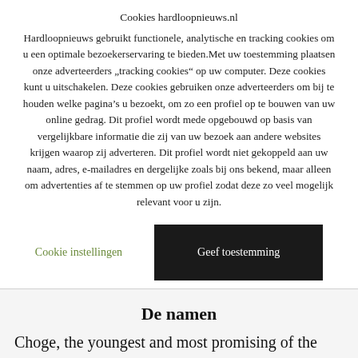Cookies hardloopnieuws.nl
Hardloopnieuws gebruikt functionele, analytische en tracking cookies om u een optimale bezoekerservaring te bieden.Met uw toestemming plaatsen onze adverteerders „tracking cookies“ op uw computer. Deze cookies kunt u uitschakelen. Deze cookies gebruiken onze adverteerders om bij te houden welke pagina’s u bezoekt, om zo een profiel op te bouwen van uw online gedrag. Dit profiel wordt mede opgebouwd op basis van vergelijkbare informatie die zij van uw bezoek aan andere websites krijgen waarop zij adverteren. Dit profiel wordt niet gekoppeld aan uw naam, adres, e-mailadres en dergelijke zoals bij ons bekend, maar alleen om advertenties af te stemmen op uw profiel zodat deze zo veel mogelijk relevant voor u zijn.
Cookie instellingen
Geef toestemming
De namen
Choge, the youngest and most promising of the Kenyan pair at 19, said training was good and the weather perfect. “The bottom line is that we